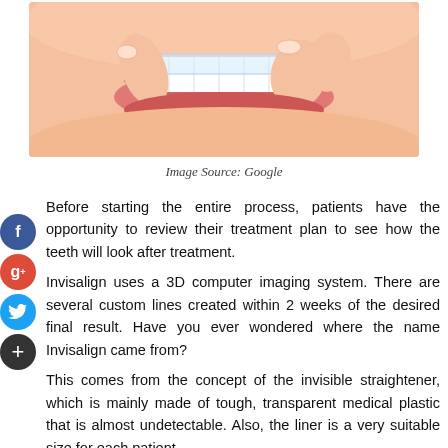[Figure (photo): Close-up photo of a person inserting a clear dental aligner/Invisalign tray onto their teeth, with fingers pulling the aligner over white teeth and pink lips.]
Image Source: Google
Before starting the entire process, patients have the opportunity to review their treatment plan to see how the teeth will look after treatment.
Invisalign uses a 3D computer imaging system. There are several custom lines created within 2 weeks of the desired final result. Have you ever wondered where the name Invisalign came from?
This comes from the concept of the invisible straightener, which is mainly made of tough, transparent medical plastic that is almost undetectable. Also, the liner is a very suitable size for each patient.